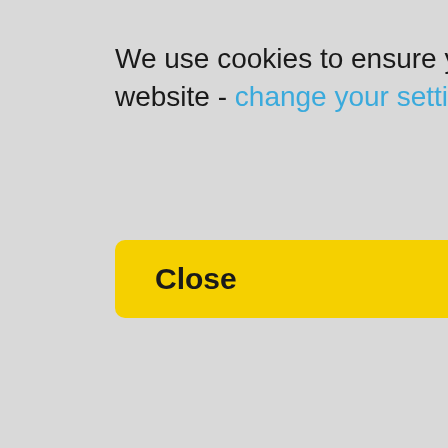We use cookies to ensure you get the best experience on our website - change your settings
Close